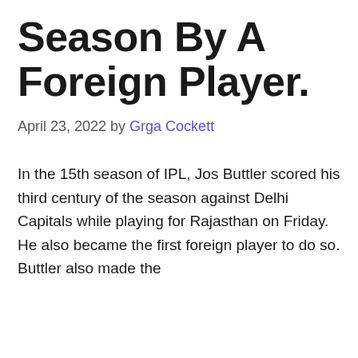Season By A Foreign Player.
April 23, 2022 by Grga Cockett
In the 15th season of IPL, Jos Buttler scored his third century of the season against Delhi Capitals while playing for Rajasthan on Friday. He also became the first foreign player to do so. Buttler also made the